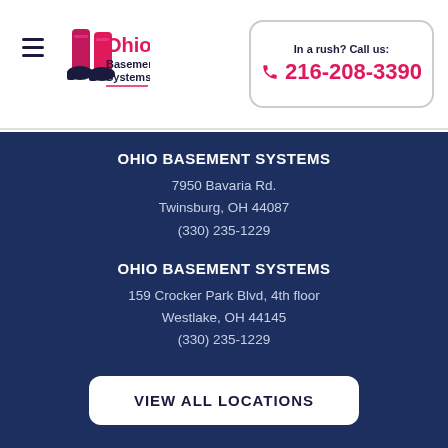[Figure (logo): Ohio Basement Systems logo with pink boots and red/navy text]
In a rush? Call us: 216-208-3390
OHIO BASEMENT SYSTEMS
7950 Bavaria Rd.
Twinsburg, OH 44087
(330) 235-1229
OHIO BASEMENT SYSTEMS
159 Crocker Park Blvd, 4th floor
Westlake, OH 44145
(330) 235-1229
VIEW ALL LOCATIONS